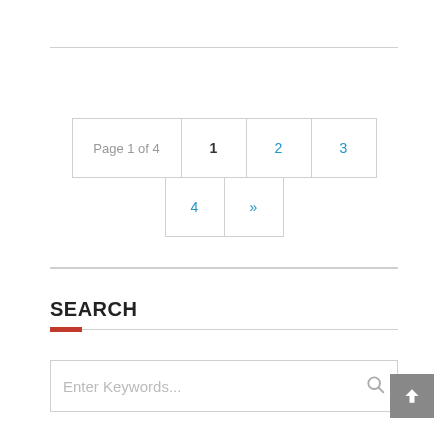Page 1 of 4  1  2  3  4  »
SEARCH
Enter Keywords...